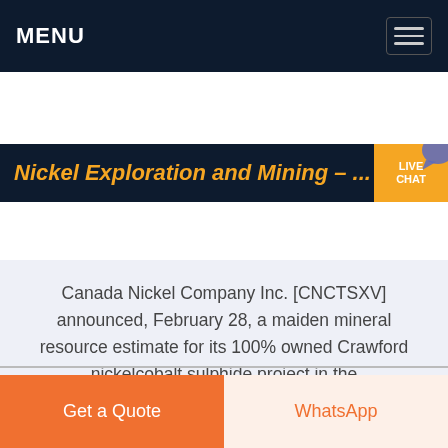MENU
Nickel Exploration and Mining – ...
Canada Nickel Company Inc. [CNCTSXV] announced, February 28, a maiden mineral resource estimate for its 100% owned Crawford nickelcobalt sulphide project in the TimminsCochrane mining camp in Ontario. The company reported a maiden resource with a higher grade core of measured and indied resource of approximately 263 million tonnes at % nickel, % cobalt, and g/t .
Get a Quote
WhatsApp